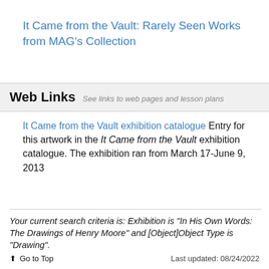It Came from the Vault: Rarely Seen Works from MAG's Collection
Web Links  See links to web pages and lesson plans
It Came from the Vault exhibition catalogue Entry for this artwork in the It Came from the Vault exhibition catalogue. The exhibition ran from March 17-June 9, 2013
Your current search criteria is: Exhibition is "In His Own Words: The Drawings of Henry Moore" and [Object]Object Type is "Drawing".
Go to Top  Last updated: 08/24/2022